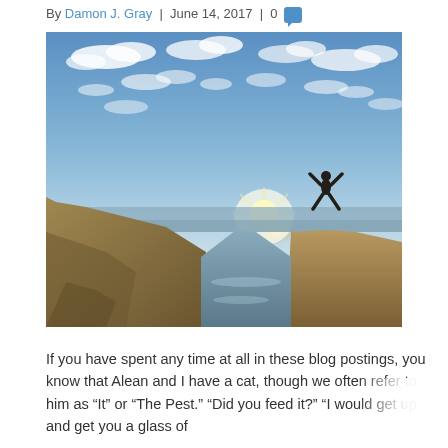By Damon J. Gray | June 14, 2017 | 0
[Figure (photo): A person jumping with arms and legs spread wide, silhouetted against a bright sunset over rocky coastal cliffs and ocean, with a dramatic cloud-filled blue sky above.]
If you have spent any time at all in these blog postings, you know that Alean and I have a cat, though we often refer to him as “It” or “The Pest.” “Did you feed it?” “I would get up and get you a glass of